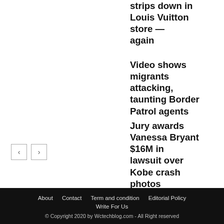strips down in Louis Vuitton store — again
Video shows migrants attacking, taunting Border Patrol agents
Jury awards Vanessa Bryant $16M in lawsuit over Kobe crash photos
About  Contact  Term and condition  Editorial Policy  Write For Us
© Copyright 2020 by Wctechblog.com - All Right reserved